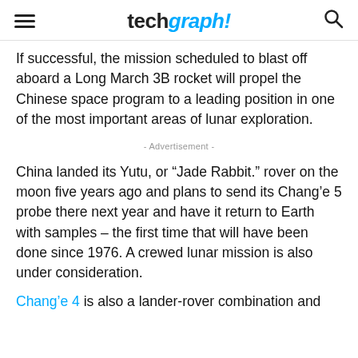techgraph!
If successful, the mission scheduled to blast off aboard a Long March 3B rocket will propel the Chinese space program to a leading position in one of the most important areas of lunar exploration.
- Advertisement -
China landed its Yutu, or “Jade Rabbit.” rover on the moon five years ago and plans to send its Chang’e 5 probe there next year and have it return to Earth with samples – the first time that will have been done since 1976. A crewed lunar mission is also under consideration.
Chang’e 4 is also a lander-rover combination and